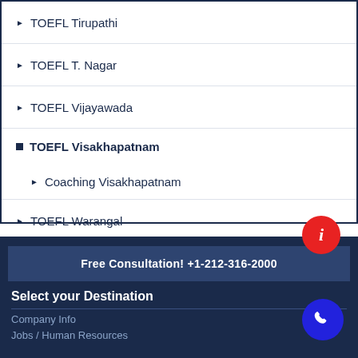TOEFL Tirupathi
TOEFL T. Nagar
TOEFL Vijayawada
TOEFL Visakhapatnam
Coaching Visakhapatnam
TOEFL Warangal
Free Consultation! +1-212-316-2000
Select your Destination
Company Info
Jobs / Human Resources